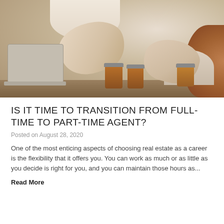[Figure (photo): Two people shaking hands across a desk with a laptop, coffee cups, and a small plant on the table. A person with reddish hair is visible from behind on the right.]
IS IT TIME TO TRANSITION FROM FULL-TIME TO PART-TIME AGENT?
Posted on August 28, 2020
One of the most enticing aspects of choosing real estate as a career is the flexibility that it offers you. You can work as much or as little as you decide is right for you, and you can maintain those hours as...
Read More